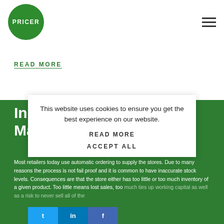[Figure (logo): Pricer green circular logo with white PRICER text]
READ MORE
In-Store Inventory Management
Most retailers today use automatic ordering to supply the stores. Due to many reasons the process is not fail proof and it is common to have inaccurate stock levels. Consequences are that the store either has too little or too much inventory of a given product. Too little means lost sales, too much ties up working capital as well as a risk to never sell all of the
This website uses cookies to ensure you get the best experience on our website.
READ MORE
ACCEPT ALL